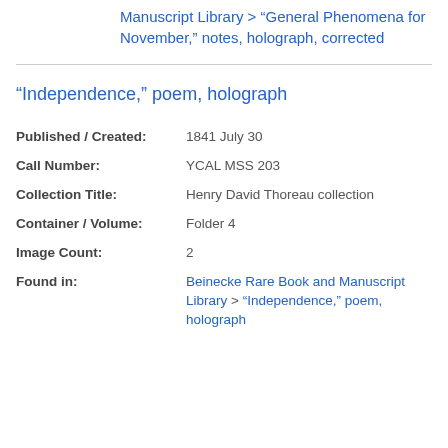Manuscript Library > "General Phenomena for November," notes, holograph, corrected
"Independence," poem, holograph
Published / Created: 1841 July 30
Call Number: YCAL MSS 203
Collection Title: Henry David Thoreau collection
Container / Volume: Folder 4
Image Count: 2
Found in: Beinecke Rare Book and Manuscript Library > "Independence," poem, holograph